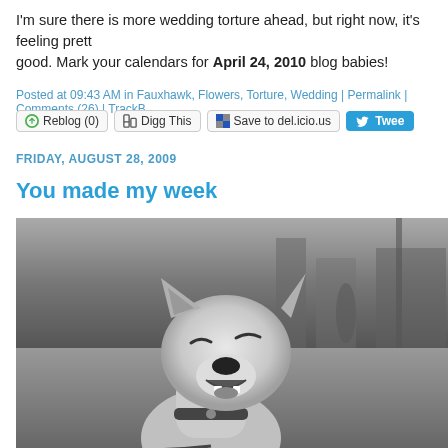I'm sure there is more wedding torture ahead, but right now, it's feeling pretty good. Mark your calendars for April 24, 2010 blog babies!
Posted at 09:43 AM in Fauxhawk, Flowers, Torture, Wedding | Permalink | Comments (26) | TrackB
Reblog (0)  Digg This  Save to del.icio.us  Tweet
FRIDAY, AUGUST 28, 2009
You made my week
[Figure (photo): Black and white photograph of a happy Shiba Inu dog smiling with eyes closed, wearing a collar, on a blurred street background]